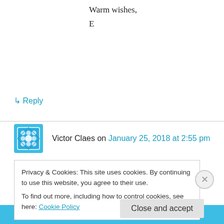Warm wishes,
E
↳ Reply
Victor Claes on January 25, 2018 at 2:55 pm
I would like to describe my horror, that John Worboys is getting out of prisson after raping 100 women. Clearly police hasn't done their bit, which was checking all his clothes for
Privacy & Cookies: This site uses cookies. By continuing to use this website, you agree to their use.
To find out more, including how to control cookies, see here: Cookie Policy
Close and accept